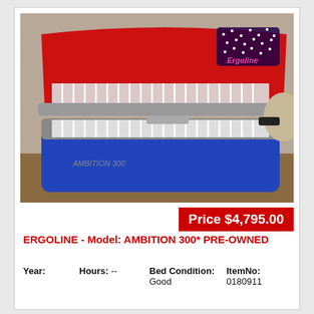[Figure (photo): Photo of an Ergoline Ambition 300 tanning bed, open lid showing UV lamps. The bed has a red top lid with blue star pattern and a blue base. Brand name 'AMBITION 300' is visible on the side.]
Price $4,795.00
ERGOLINE - Model: AMBITION 300* PRE-OWNED
| Year: | Hours: | Bed Condition: | ItemNo: |
| --- | --- | --- | --- |
|  | -- | Good | 0180911 |